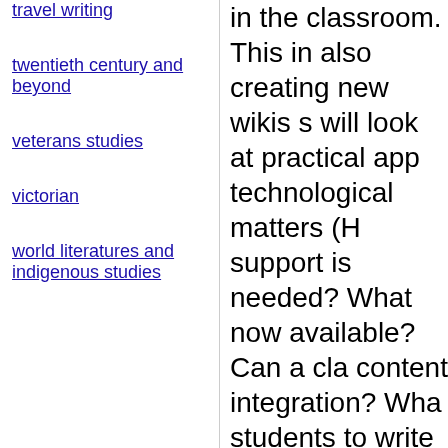travel writing
twentieth century and beyond
veterans studies
victorian
world literatures and indigenous studies
in the classroom. This in also creating new wikis s will look at practical app technological matters (H support is needed? What now available? Can a cla content integration? Wha students to write in a wi make editorial decisions writers, as part of a clas offered freely by self-sel
* Lore: 6-12 page narrati (or reacting) to wikis in t wikis in your writing or te What would you do diffe in wikis?
We also plan to last ou